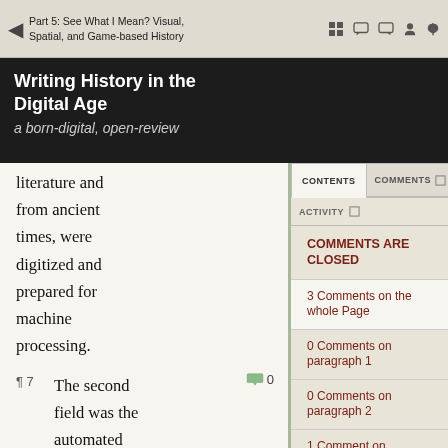[Figure (screenshot): Browser toolbar with back arrow, page title 'Part 5: See What I Mean? Visual, Spatial, and Game-based History' and toolbar icons]
Writing History in the Digital Age
a born-digital, open-review
literature and from ancient times, were digitized and prepared for machine processing.
¶ 7   The second field was the automated analysis of serial historical sources, such as hi...
COMMENTS ARE CLOSED
3 Comments on the whole Page
0 Comments on paragraph 1
0 Comments on paragraph 2
1 Comment on paragraph 3
2 Comments on paragraph 4
1 Comment on paragraph 5